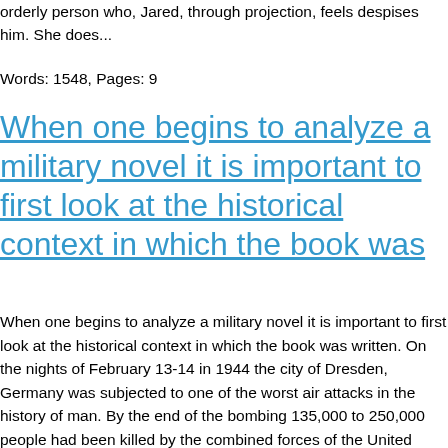orderly person who, Jared, through projection, feels despises him. She does...
Words: 1548, Pages: 9
When one begins to analyze a military novel it is important to first look at the historical context in which the book was
When one begins to analyze a military novel it is important to first look at the historical context in which the book was written. On the nights of February 13-14 in 1944 the city of Dresden, Germany was subjected to one of the worst air attacks in the history of man. By the end of the bombing 135,000 to 250,000 people had been killed by the combined forces of the United States and the United Kingdom. Dresden was different then Berlin or many of the other military targets which were attacked